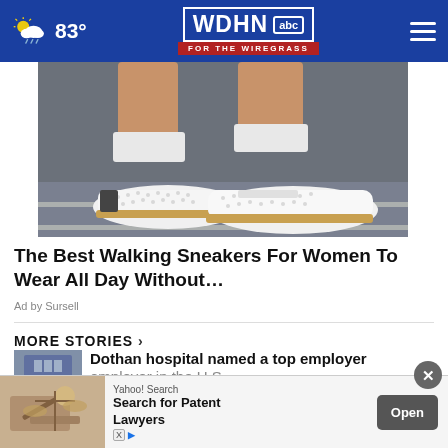WDHN ABC FOR THE WIREGRASS — 83°
[Figure (photo): Close-up photo of woman's legs wearing white perforated walking sneakers with gold trim, standing on asphalt road]
The Best Walking Sneakers For Women To Wear All Day Without…
Ad by Sursell
MORE STORIES ›
[Figure (photo): Thumbnail of Dothan hospital building exterior]
Dothan hospital named a top employer in the U.S
[Figure (photo): Thumbnail news image related to convenience store robbery]
convenience store robber
[Figure (screenshot): Yahoo Search advertisement banner: Search for Patent Lawyers with Open button and AdChoices label]
Yahoo! Search
Search for Patent Lawyers
Open